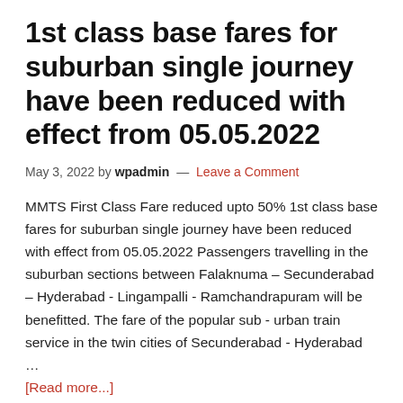1st class base fares for suburban single journey have been reduced with effect from 05.05.2022
May 3, 2022 by wpadmin — Leave a Comment
MMTS First Class Fare reduced upto 50% 1st class base fares for suburban single journey have been reduced with effect from 05.05.2022 Passengers travelling in the suburban sections between Falaknuma – Secunderabad – Hyderabad - Lingampalli - Ramchandrapuram will be benefitted. The fare of the popular sub - urban train service in the twin cities of Secunderabad - Hyderabad …
[Read more...]